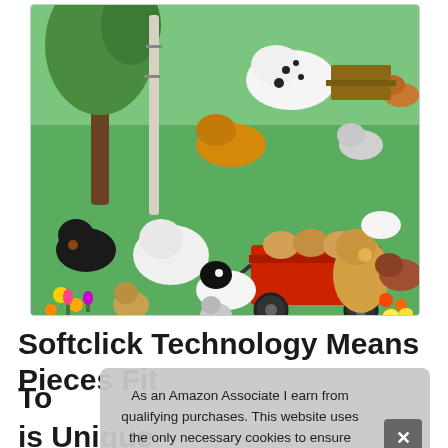[Figure (illustration): Colorful illustrated puzzle image showing many dogs of various breeds playing in a sunny park/garden setting. Dogs include golden retrievers, dalmatians, border collies, and many others. Some puppies are in a red wagon. Flowers and trees visible in background.]
Softclick Technology Means Pieces Fit To The Jigsaw is Unique
As an Amazon Associate I earn from qualifying purchases. This website uses the only necessary cookies to ensure you get the best experience on our website. More information